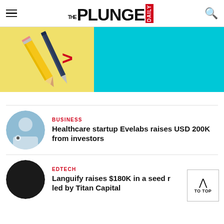THE PLUNGE DAILY
[Figure (photo): Hero image showing pencils on yellow background next to a cyan/turquoise rectangle]
BUSINESS
Healthcare startup Evelabs raises USD 200K from investors
EDTECH
Languify raises $180K in a seed round led by Titan Capital